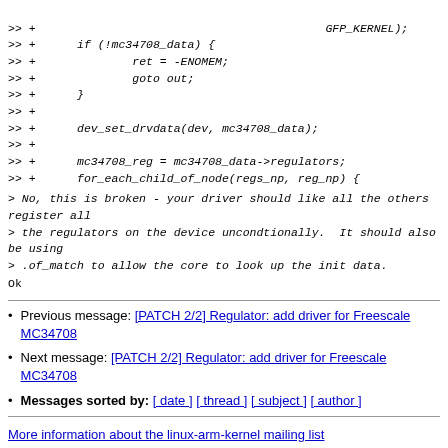>> +                                          GFP_KERNEL);
>> +      if (!mc34708_data) {
>> +              ret = -ENOMEM;
>> +              goto out;
>> +      }
>> +
>> +      dev_set_drvdata(dev, mc34708_data);
>> +
>> +      mc34708_reg = mc34708_data->regulators;
>> +      for_each_child_of_node(regs_np, reg_np) {
> No, this is broken - your driver should like all the others register all
> the regulators on the device uncondtionally.  It should also be using
> .of_match to allow the core to look up the init data.
Ok
Previous message: [PATCH 2/2] Regulator: add driver for Freescale MC34708
Next message: [PATCH 2/2] Regulator: add driver for Freescale MC34708
Messages sorted by: [ date ] [ thread ] [ subject ] [ author ]
More information about the linux-arm-kernel mailing list